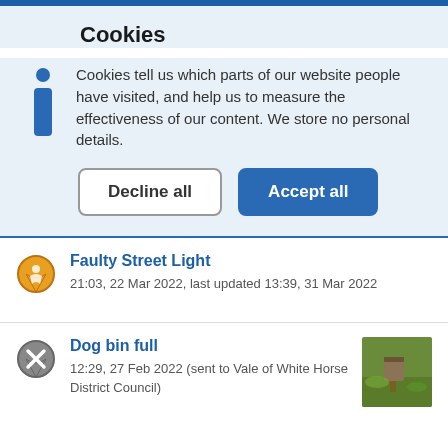Cookies
Cookies tell us which parts of our website people have visited, and help us to measure the effectiveness of our content. We store no personal details.
Decline all | Accept all
Faulty Street Light
21:03, 22 Mar 2022, last updated 13:39, 31 Mar 2022
Dog bin full
12:29, 27 Feb 2022 (sent to Vale of White Horse District Council)
[Figure (photo): Photograph of a dog bin in a grassy area]